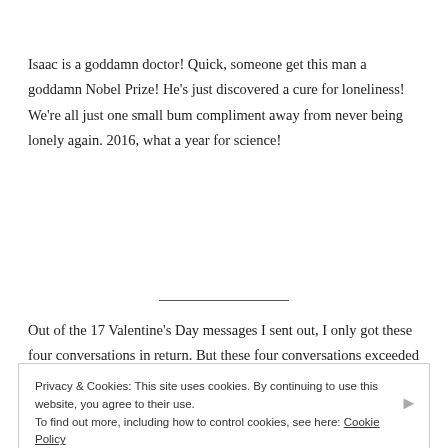Isaac is a goddamn doctor! Quick, someone get this man a goddamn Nobel Prize! He's just discovered a cure for loneliness! We're all just one small bum compliment away from never being lonely again. 2016, what a year for science!
Out of the 17 Valentine's Day messages I sent out, I only got these four conversations in return. But these four conversations exceeded my expectations in every way possible. Man, I miss Ireland.
Privacy & Cookies: This site uses cookies. By continuing to use this website, you agree to their use.
To find out more, including how to control cookies, see here: Cookie Policy
Close and accept